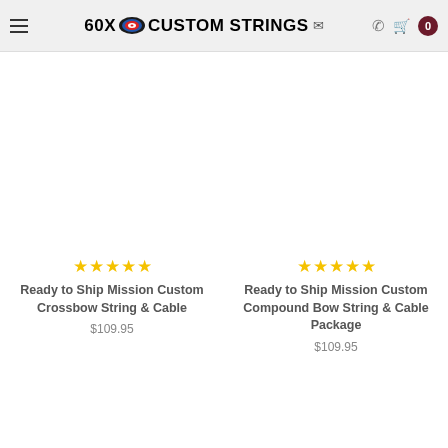60X Custom Strings
★★★★★
Ready to Ship Mission Custom Crossbow String & Cable
$109.95
★★★★★
Ready to Ship Mission Custom Compound Bow String & Cable Package
$109.95